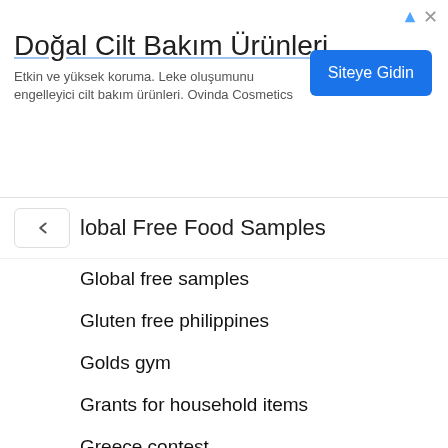[Figure (screenshot): Advertisement banner for Doğal Cilt Bakım Ürünleri (Natural Skin Care Products) with a blue 'Siteye Gidin' (Go to Site) button]
lobal Free Food Samples
Global free samples
Gluten free philippines
Golds gym
Grants for household items
Greece contest
Greece free samples
Greece free stuff
Greece freebies
Greek beauty brands
Greek cuisine